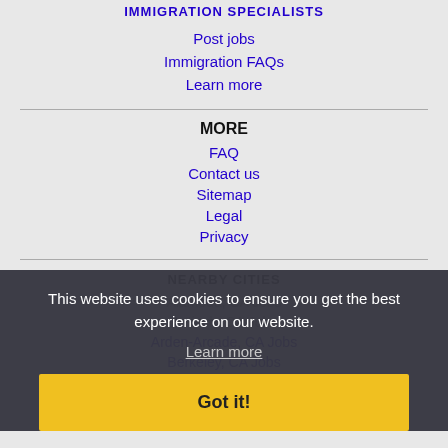IMMIGRATION SPECIALISTS
Post jobs
Immigration FAQs
Learn more
MORE
FAQ
Contact us
Sitemap
Legal
Privacy
NEARBY CITIES
Alameda, CA Jobs
Antioch, CA Jobs
Arden-Arcade, CA Jobs
Berkeley, CA Jobs
This website uses cookies to ensure you get the best experience on our website.
Learn more
Got it!